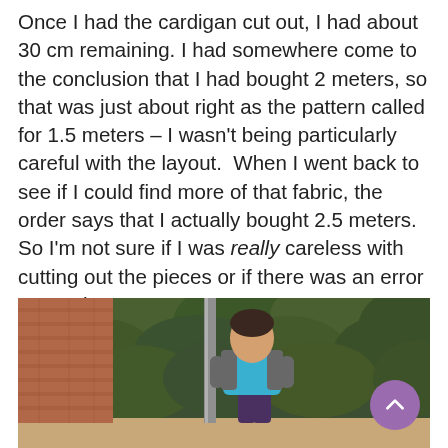Once I had the cardigan cut out, I had about 30 cm remaining. I had somewhere come to the conclusion that I had bought 2 meters, so that was just about right as the pattern called for 1.5 meters – I wasn't being particularly careful with the layout.  When I went back to see if I could find more of that fabric, the order says that I actually bought 2.5 meters. So I'm not sure if I was really careless with cutting out the pieces or if there was an error somewhere.
[Figure (photo): A woman standing outdoors wearing a grey cardigan over a blue top, in front of green shrubs/hedge, with a metal pole nearby and brick wall visible on the left. A purple back-to-top button overlays the bottom right of the image.]